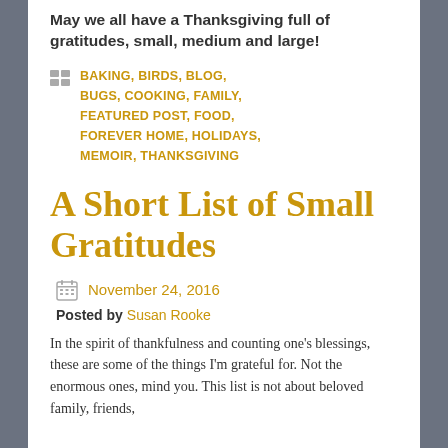May we all have a Thanksgiving full of gratitudes, small, medium and large!
BAKING, BIRDS, BLOG, BUGS, COOKING, FAMILY, FEATURED POST, FOOD, FOREVER HOME, HOLIDAYS, MEMOIR, THANKSGIVING
A Short List of Small Gratitudes
November 24, 2016
Posted by Susan Rooke
In the spirit of thankfulness and counting one's blessings, these are some of the things I'm grateful for. Not the enormous ones, mind you. This list is not about beloved family, friends,